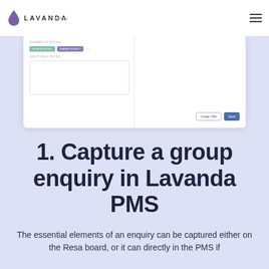[Figure (screenshot): Lavanda logo (purple water drop + LAVANDA wordmark) in top-left header, hamburger menu icon top-right, screenshot of Lavanda PMS form UI showing fields, teal and purple tags, textarea, and Create Offer / Send buttons]
1. Capture a group enquiry in Lavanda PMS
The essential elements of an enquiry can be captured either on the Resa board, or it can directly in the PMS if